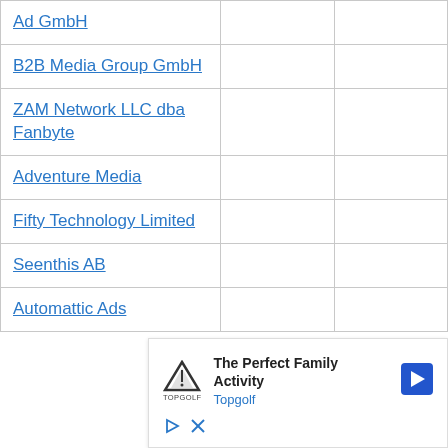|  |  |  |
| --- | --- | --- |
| Ad GmbH |  |  |
| B2B Media Group GmbH |  |  |
| ZAM Network LLC dba Fanbyte |  |  |
| Adventure Media |  |  |
| Fifty Technology Limited |  |  |
| Seenthis AB |  |  |
| Automattic Ads |  |  |
[Figure (other): Advertisement overlay for Topgolf: 'The Perfect Family Activity' with Topgolf logo and navigation arrow]